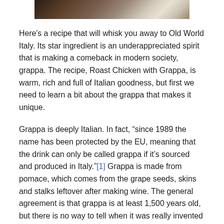[Figure (photo): Partial photograph cropped at top of page showing what appears to be a food or drink scene, dark tones with bokeh lighting.]
Here's a recipe that will whisk you away to Old World Italy. Its star ingredient is an underappreciated spirit that is making a comeback in modern society, grappa. The recipe, Roast Chicken with Grappa, is warm, rich and full of Italian goodness, but first we need to learn a bit about the grappa that makes it unique.
Grappa is deeply Italian. In fact, “since 1989 the name has been protected by the EU, meaning that the drink can only be called grappa if it’s sourced and produced in Italy.”[1] Grappa is made from pomace, which comes from the grape seeds, skins and stalks leftover after making wine. The general agreement is that grappa is at least 1,500 years old, but there is no way to tell when it was really invented because it was most likely created by peasants